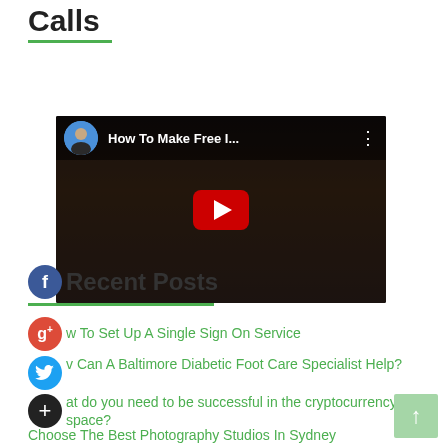Calls
[Figure (screenshot): YouTube video thumbnail with title 'How To Make Free I...' showing a person in dark setting with red play button overlay and channel avatar]
Recent Posts
How To Set Up A Single Sign On Service
How Can A Baltimore Diabetic Foot Care Specialist Help?
What do you need to be successful in the cryptocurrency space?
Choose The Best Photography Studios In Sydney